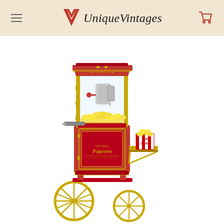UniqueVintages
[Figure (photo): Vintage-style red and gold popcorn cart machine on wheels, with glass enclosure showing popped popcorn inside, a popcorn bucket on a side shelf, and decorative 'Popcorn' script on the lower cabinet door.]